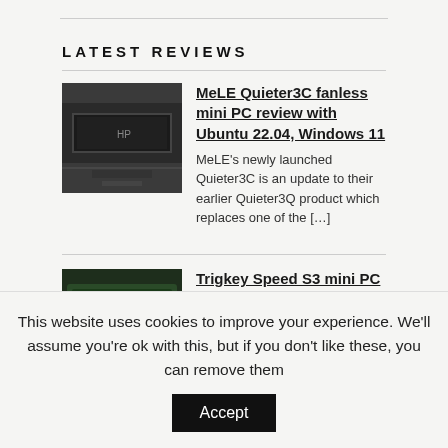LATEST REVIEWS
[Figure (photo): Thumbnail image of MeLE Quieter3C fanless mini PC, dark computer device photo]
MeLE Quieter3C fanless mini PC review with Ubuntu 22.04, Windows 11
MeLE's newly launched Quieter3C is an update to their earlier Quieter3Q product which replaces one of the […]
[Figure (photo): Thumbnail image of Trigkey Speed S3 mini PC, dark device with hand holding it]
Trigkey Speed S3 mini PC review – Part 1: Unboxing and teardown
Trigkey Speed S3 is a compact mini PC powered by AMD Ryzen 5 3550H quad-
This website uses cookies to improve your experience. We'll assume you're ok with this, but if you don't like these, you can remove them